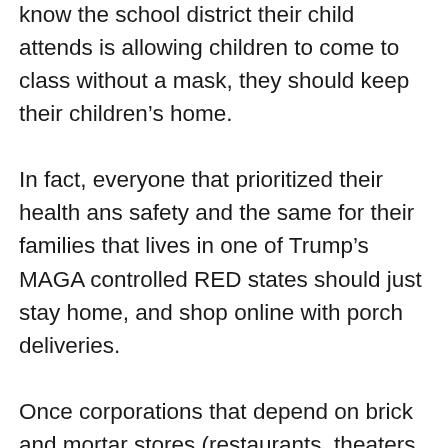know the school district their child attends is allowing children to come to class without a mask, they should keep their children's home.
In fact, everyone that prioritized their health ans safety and the same for their families that lives in one of Trump's MAGA controlled RED states should just stay home, and shop online with porch deliveries.
Once corporations that depend on brick and mortar stores (restaurants, theaters, et al.) see profits falling like a rock dropped from 30,000 feet, who will Trump's ass kissers listen to, the lunatic MAGA voters they are catering to or the billionaires and corporations that donate to their election campaigns?